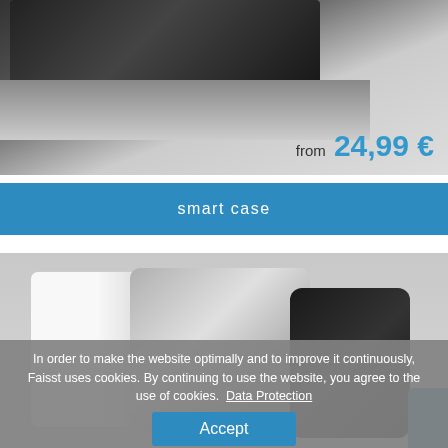[Figure (photo): Top-down view of a dark/black product (tray or keyboard) on a light grey background, bottom-right corner visible]
from 24,99 €
smart case
[Figure (photo): Three luggage/smart cases in white, silver, and black colors arranged on a grey background]
In order to make the website optimally and to improve it continuously, Faisst uses cookies. By continuing to use the website, you agree to the use of cookies. Data Protection
Accept